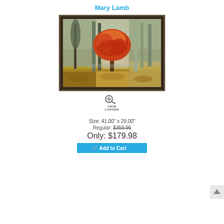Mary Lamb
[Figure (photo): Framed artwork showing an autumn landscape with a large orange/red tree in the center surrounded by tall forest trees, painted in warm earth tones of gold, brown, and green, displayed in a dark ornate frame.]
[Figure (infographic): View Larger icon with a magnifying glass plus sign symbol above the text VIEW LARGER]
Size: 41.00" x 29.00"
Regular: $359.96
Only: $179.98